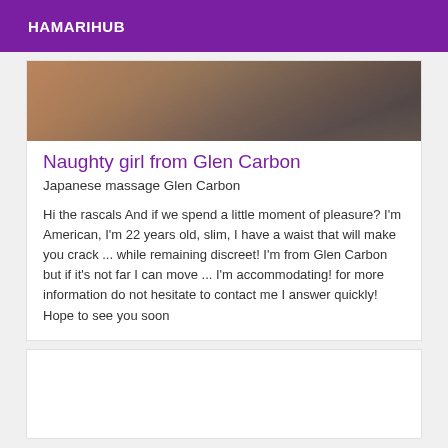HAMARIHUB
[Figure (photo): Close-up photo showing a person's hand/fingers on a wooden surface with warm brown tones]
Naughty girl from Glen Carbon
Japanese massage Glen Carbon
Hi the rascals And if we spend a little moment of pleasure? I'm American, I'm 22 years old, slim, I have a waist that will make you crack ... while remaining discreet! I'm from Glen Carbon but if it's not far I can move ... I'm accommodating! for more information do not hesitate to contact me I answer quickly! Hope to see you soon